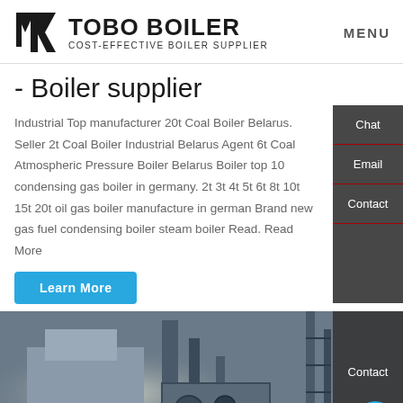[Figure (logo): TOBO BOILER logo with icon and tagline COST-EFFECTIVE BOILER SUPPLIER]
- Boiler supplier
Industrial Top manufacturer 20t Coal Boiler Belarus. Seller 2t Coal Boiler Industrial Belarus Agent 6t Coal Atmospheric Pressure Boiler Belarus Boiler top 10 condensing gas boiler in germany. 2t 3t 4t 5t 6t 8t 10t 15t 20t oil gas boiler manufacture in german Brand new gas fuel condensing boiler steam boiler Read. Read More
[Figure (photo): Industrial boiler facility photograph with machinery and equipment]
Hey, we are live 24/7. How may I help you?